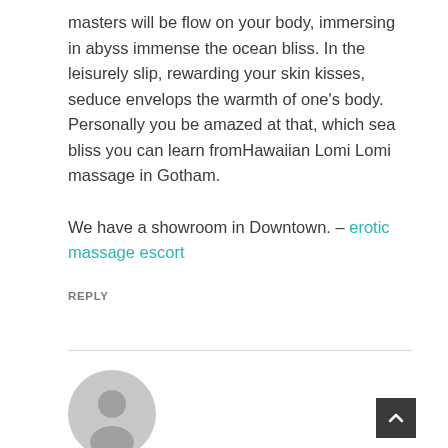masters will be flow on your body, immersing in abyss immense the ocean bliss. In the leisurely slip, rewarding your skin kisses, seduce envelops the warmth of one's body. Personally you be amazed at that, which sea bliss you can learn fromHawaiian Lomi Lomi massage in Gotham.

We have a showroom in Downtown. – erotic massage escort
REPLY
[Figure (illustration): Default user avatar: grey circle with a person silhouette icon]
Marilynsic